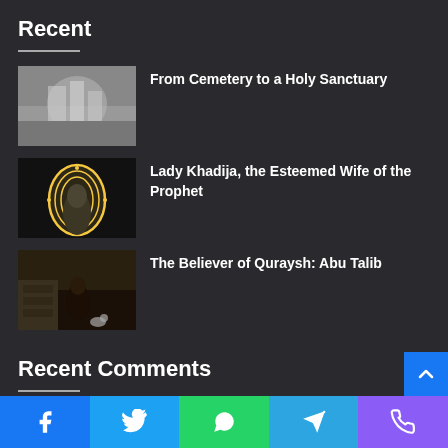Recent
From Cemetery to a Holy Sanctuary
Lady Khadija, the Esteemed Wife of the Prophet
The Believer of Quraysh: Abu Talib
Recent Comments